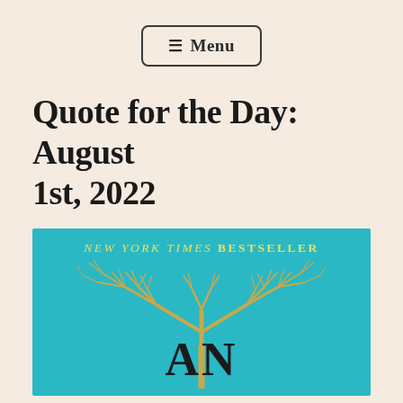≡ Menu
Quote for the Day: August 1st, 2022
[Figure (illustration): Book cover with teal/turquoise background, gold tree illustration, text 'NEW YORK TIMES BESTSELLER' at top in yellow italic, and large bold letters 'AN' visible at bottom center]